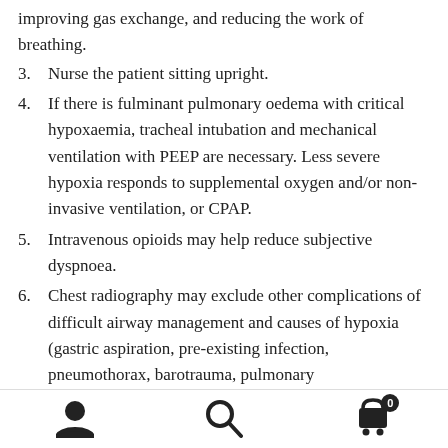improving gas exchange, and reducing the work of breathing.
3. Nurse the patient sitting upright.
4. If there is fulminant pulmonary oedema with critical hypoxaemia, tracheal intubation and mechanical ventilation with PEEP are necessary. Less severe hypoxia responds to supplemental oxygen and/or non-invasive ventilation, or CPAP.
5. Intravenous opioids may help reduce subjective dyspnoea.
6. Chest radiography may exclude other complications of difficult airway management and causes of hypoxia (gastric aspiration, pre-existing infection, pneumothorax, barotrauma, pulmonary oedema).
Navigation bar with user, search, and cart icons